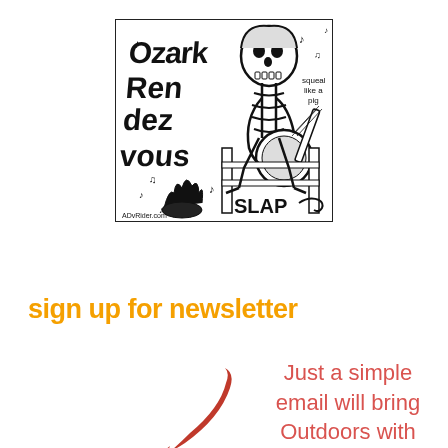[Figure (illustration): Ozark Rendezvous logo: black and white woodcut-style illustration of a skeleton playing banjo, sitting on a fence with fire and musical notes, text reads 'Ozark Rendezvous squeal like a pig SLAP ADvRider.com']
sign up for newsletter
[Figure (illustration): Red curved arrow pointing downward and to the right]
Just a simple email will bring Outdoors with Wheels Radio